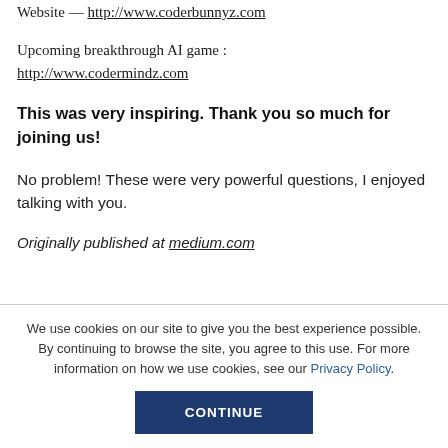Website — http://www.coderbunnyz.com
Upcoming breakthrough AI game : http://www.codermindz.com
This was very inspiring. Thank you so much for joining us!
No problem! These were very powerful questions, I enjoyed talking with you.
Originally published at medium.com
We use cookies on our site to give you the best experience possible. By continuing to browse the site, you agree to this use. For more information on how we use cookies, see our Privacy Policy.
CONTINUE